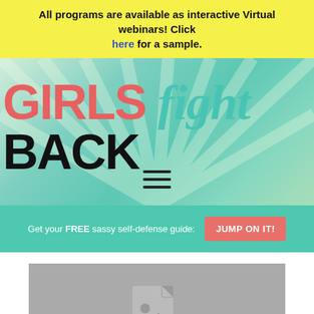All programs are available as interactive Virtual webinars! Click here for a sample.
[Figure (screenshot): Girls Fight Back website header with colorful logo on green radial background with hamburger menu icon]
Get your FREE sassy self-defense guide: JUMP ON IT!
[Figure (photo): Placeholder image with document/photo icon on grey background]